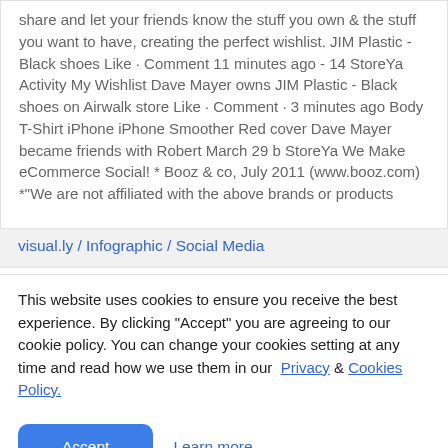Viral: The Want & Own buttons makes it easy to share and let your friends know the stuff you own & the stuff you want to have, creating the perfect wishlist. JIM Plastic - Black shoes Like · Comment 11 minutes ago - 14 StoreYa Activity My Wishlist Dave Mayer owns JIM Plastic - Black shoes on Airwalk store Like · Comment · 3 minutes ago Body T-Shirt iPhone iPhone Smoother Red cover Dave Mayer became friends with Robert March 29 b StoreYa We Make eCommerce Social! * Booz & co, July 2011 (www.booz.com) *"We are not affiliated with the above brands or products
visual.ly / Infographic / Social Media
This website uses cookies to ensure you receive the best experience. By clicking "Accept" you are agreeing to our cookie policy. You can change your cookies setting at any time and read how we use them in our Privacy & Cookies Policy.